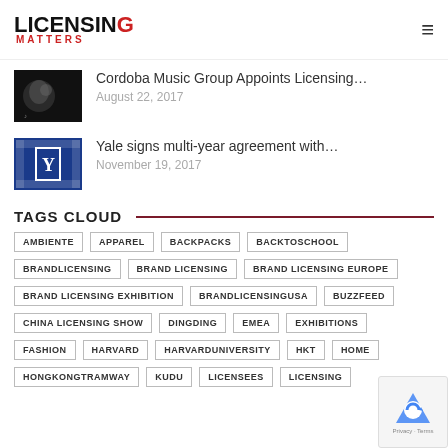Licensing Matters
Cordoba Music Group Appoints Licensing…
August 22, 2017
Yale signs multi-year agreement with…
November 19, 2017
TAGS CLOUD
AMBIENTE
APPAREL
BACKPACKS
BACKTOSCHOOL
BRANDLICENSING
BRAND LICENSING
BRAND LICENSING EUROPE
BRAND LICENSING EXHIBITION
BRANDLICENSINGUSA
BUZZFEED
CHINA LICENSING SHOW
DINGDING
EMEA
EXHIBITIONS
FASHION
HARVARD
HARVARDUNIVERSITY
HKT
HOME
HONGKONGTRAMWAY
KUDU
LICENSEES
LICENSING